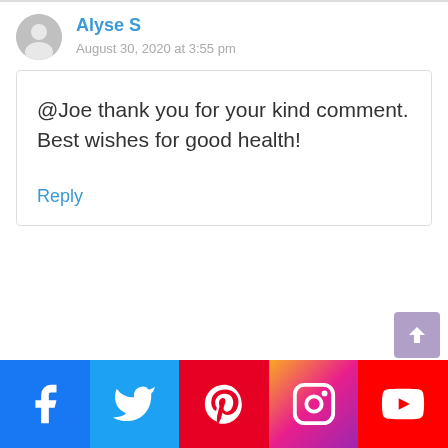Alyse S
August 30, 2020 at 3:55 pm
@Joe thank you for your kind comment. Best wishes for good health!
Reply
[Figure (other): Social media share bar with Facebook, Twitter, Pinterest, Instagram, YouTube icons]